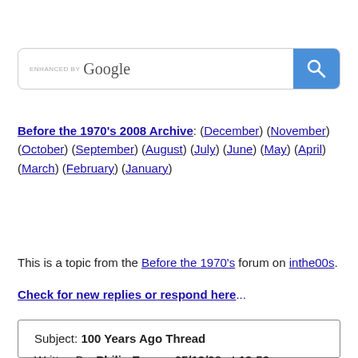[Figure (screenshot): Google search bar with 'ENHANCED BY Google' label and blue search button with magnifying glass icon]
Before the 1970's 2008 Archive: (December) (November) (October) (September) (August) (July) (June) (May) (April) (March) (February) (January)
This is a topic from the Before the 1970's forum on inthe00s.
Check for new replies or respond here...
| Subject: 100 Years Ago Thread |
| Written By: Philip Eno on 05/12/08 at 12:53 am |